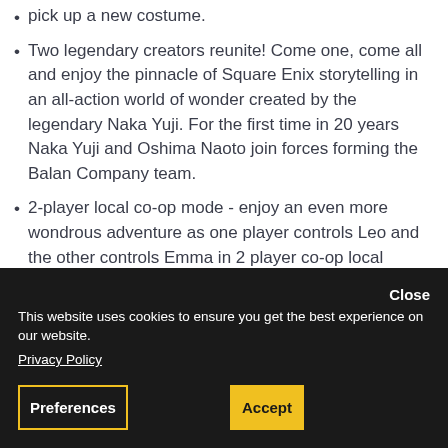pick up a new costume.
Two legendary creators reunite! Come one, come all and enjoy the pinnacle of Square Enix storytelling in an all-action world of wonder created by the legendary Naka Yuji. For the first time in 20 years Naka Yuji and Oshima Naoto join forces forming the Balan Company team.
2-player local co-op mode - enjoy an even more wondrous adventure as one player controls Leo and the other controls Emma in 2 player co-op local mode.
Co-operate together, combining the abilities which will surely open new paths as you wander through wonder world!
This website uses cookies to ensure you get the best experience on our website.
Privacy Policy
Preferences
Accept
Close
REVIEWS